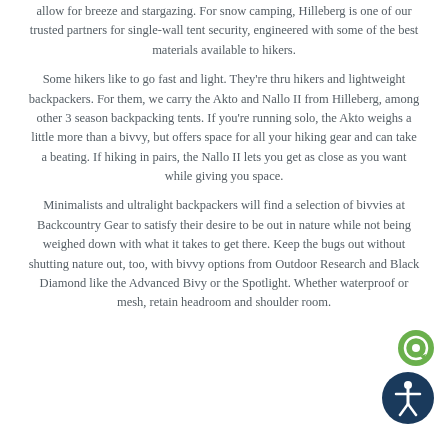allow for breeze and stargazing. For snow camping, Hilleberg is one of our trusted partners for single-wall tent security, engineered with some of the best materials available to hikers.
Some hikers like to go fast and light. They're thru hikers and lightweight backpackers. For them, we carry the Akto and Nallo II from Hilleberg, among other 3 season backpacking tents. If you're running solo, the Akto weighs a little more than a bivvy, but offers space for all your hiking gear and can take a beating. If hiking in pairs, the Nallo II lets you get as close as you want while giving you space.
Minimalists and ultralight backpackers will find a selection of bivvies at Backcountry Gear to satisfy their desire to be out in nature while not being weighed down with what it takes to get there. Keep the bugs out without shutting nature out, too, with bivvy options from Outdoor Research and Black Diamond like the Advanced Bivy or the Spotlight. Whether waterproof or mesh, retain headroom and shoulder room.